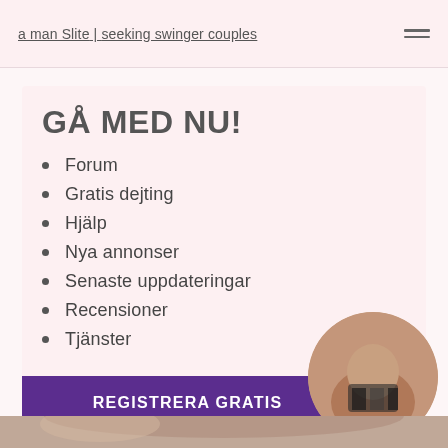a man Slite | seeking swinger couples
GÅ MED NU!
Forum
Gratis dejting
Hjälp
Nya annonser
Senaste uppdateringar
Recensioner
Tjänster
REGISTRERA GRATIS
[Figure (photo): Circular cropped photo of a person, partially visible at bottom right of the content box]
[Figure (photo): Bottom strip image, partially visible at the very bottom of the page]